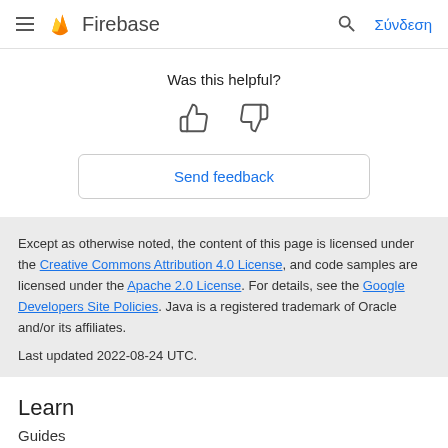Firebase — Σύνδεση
Was this helpful?
Send feedback
Except as otherwise noted, the content of this page is licensed under the Creative Commons Attribution 4.0 License, and code samples are licensed under the Apache 2.0 License. For details, see the Google Developers Site Policies. Java is a registered trademark of Oracle and/or its affiliates.

Last updated 2022-08-24 UTC.
Learn
Guides